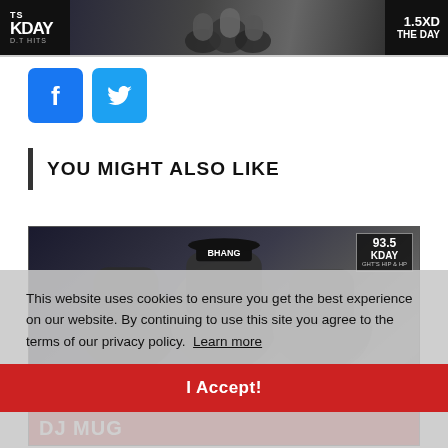[Figure (photo): Top banner with KDAY radio station logo on left, group photo silhouette in center, 93.5 KDAY logo on right]
[Figure (logo): Facebook icon button (blue square with white f)]
[Figure (logo): Twitter icon button (blue square with white bird)]
YOU MIGHT ALSO LIKE
[Figure (photo): Photo of people including person wearing BHANG hat, with 93.5 KDAY logo badge. Bottom shows red bar with DJ MUG text and CECE & ROMEO label.]
This website uses cookies to ensure you get the best experience on our website. By continuing to use this site you agree to the terms of our privacy policy.  Learn more
I Accept!